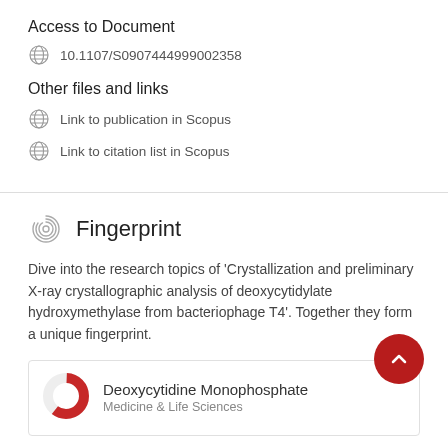Access to Document
10.1107/S0907444999002358
Other files and links
Link to publication in Scopus
Link to citation list in Scopus
Fingerprint
Dive into the research topics of 'Crystallization and preliminary X-ray crystallographic analysis of deoxycytidylate hydroxymethylase from bacteriophage T4'. Together they form a unique fingerprint.
Deoxycytidine Monophosphate
Medicine & Life Sciences